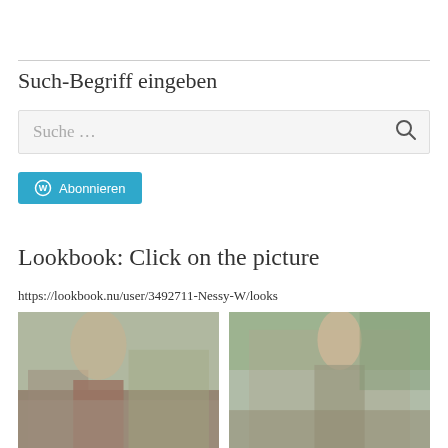Such-Begriff eingeben
Suche ...
Abonnieren
Lookbook: Click on the picture
https://lookbook.nu/user/3492711-Nessy-W/looks
[Figure (photo): Two fashion lookbook photos showing a woman in outdoor settings]